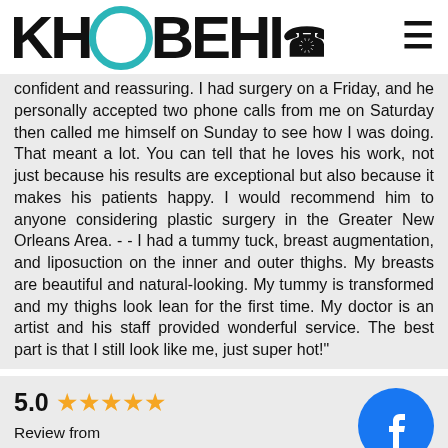[Figure (logo): KHOOBEHI logo with teal circle between KH and BEHI, followed by phone icon]
confident and reassuring. I had surgery on a Friday, and he personally accepted two phone calls from me on Saturday then called me himself on Sunday to see how I was doing. That meant a lot. You can tell that he loves his work, not just because his results are exceptional but also because it makes his patients happy. I would recommend him to anyone considering plastic surgery in the Greater New Orleans Area. - - I had a tummy tuck, breast augmentation, and liposuction on the inner and outer thighs. My breasts are beautiful and natural-looking. My tummy is transformed and my thighs look lean for the first time. My doctor is an artist and his staff provided wonderful service. The best part is that I still look like me, just super hot!"
5.0 ★★★★★
Review from
Anonymous
[Figure (logo): Facebook circular logo icon in blue]